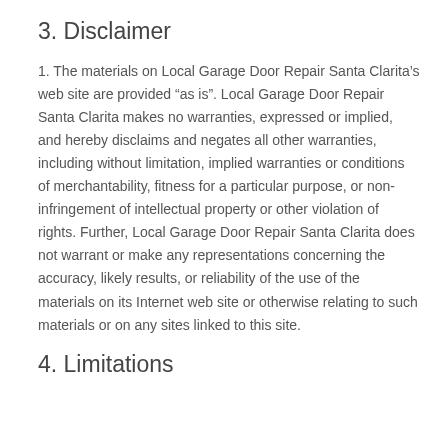3. Disclaimer
1. The materials on Local Garage Door Repair Santa Clarita’s web site are provided “as is”. Local Garage Door Repair Santa Clarita makes no warranties, expressed or implied, and hereby disclaims and negates all other warranties, including without limitation, implied warranties or conditions of merchantability, fitness for a particular purpose, or non-infringement of intellectual property or other violation of rights. Further, Local Garage Door Repair Santa Clarita does not warrant or make any representations concerning the accuracy, likely results, or reliability of the use of the materials on its Internet web site or otherwise relating to such materials or on any sites linked to this site.
4. Limitations